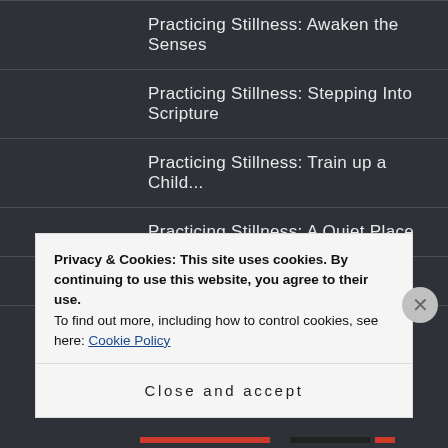Practicing Stillness: Awaken the Senses
Practicing Stillness: Stepping Into Scripture
Practicing Stillness: Train up a Child…
Practicing Stillness: A Quiet Place
Stillness: First Steps
RETREATS AND REVIEWS
Privacy & Cookies: This site uses cookies. By continuing to use this website, you agree to their use.
To find out more, including how to control cookies, see here: Cookie Policy
Close and accept